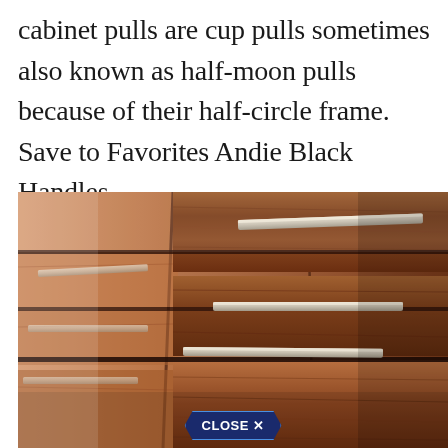cabinet pulls are cup pulls sometimes also known as half-moon pulls because of their half-circle frame. Save to Favorites Andie Black Handles.
[Figure (photo): Close-up photograph of wooden cabinet drawers with sleek horizontal silver/chrome bar handles, warm walnut wood grain visible, shallow depth of field]